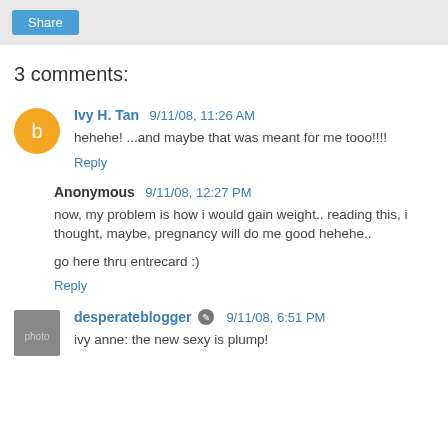Share
3 comments:
Ivy H. Tan 9/11/08, 11:26 AM
hehehe! ...and maybe that was meant for me tooo!!!!
Reply
Anonymous 9/11/08, 12:27 PM
now, my problem is how i would gain weight.. reading this, i thought, maybe, pregnancy will do me good hehehe..

go here thru entrecard :)
Reply
desperateblogger 9/11/08, 6:51 PM
ivy anne: the new sexy is plump!